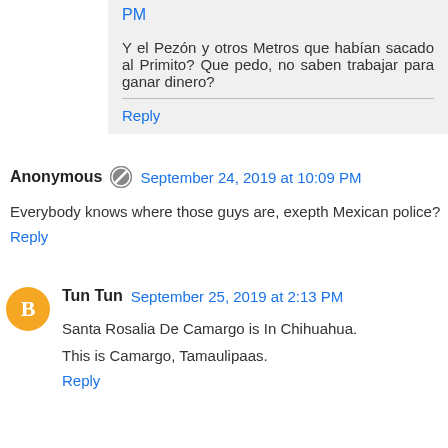PM
Y el Pezón y otros Metros que habían sacado al Primito? Que pedo, no saben trabajar para ganar dinero?
Reply
Anonymous  September 24, 2019 at 10:09 PM
Everybody knows where those guys are, exepth Mexican police?
Reply
Tun Tun  September 25, 2019 at 2:13 PM
Santa Rosalia De Camargo is In Chihuahua.
This is Camargo, Tamaulipaas.
Reply